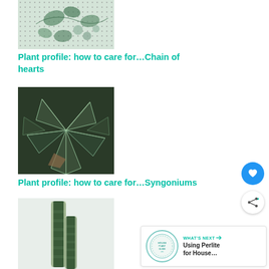[Figure (photo): Photo of Chain of hearts plant with spotted/dotted leaves on a light background]
Plant profile: how to care for…Chain of hearts
[Figure (photo): Close-up photo of Syngonium plant with dark green leaves with white veining pattern]
Plant profile: how to care for…Syngoniums
[Figure (photo): Close-up photo of a snake plant (Sansevieria) leaf with green banding pattern]
[Figure (other): What's Next panel showing: Using Perlite for House...]
[Figure (other): Heart favorite button (blue circle with heart icon)]
[Figure (other): Share button (white circle with share icon)]